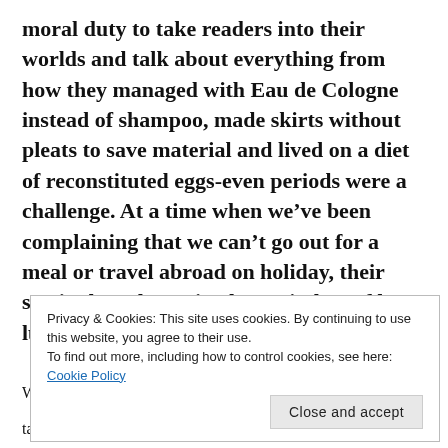moral duty to take readers into their worlds and talk about everything from how they managed with Eau de Cologne instead of shampoo, made skirts without pleats to save material and lived on a diet of reconstituted eggs-even periods were a challenge. At a time when we've been complaining that we can't go out for a meal or travel abroad on holiday, their stories have been timely reminders of how lucky our generation has been.
We spoke briefly about our mutual love of the Isle of
Privacy & Cookies: This site uses cookies. By continuing to use this website, you agree to their use.
To find out more, including how to control cookies, see here: Cookie Policy
take?